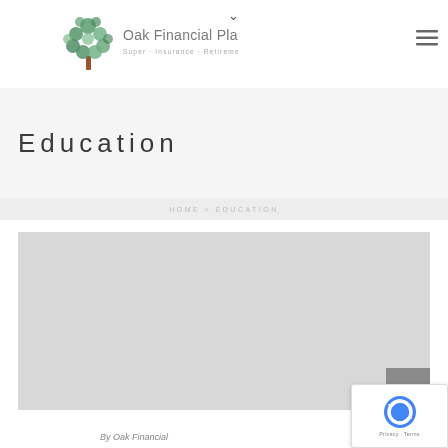[Figure (logo): Oak Financial Planning logo with tree graphic and tagline Super · Insurance · Retirement]
Education
HOME > EDUCATION
[Figure (photo): Large gray placeholder image area]
By Oak Financial